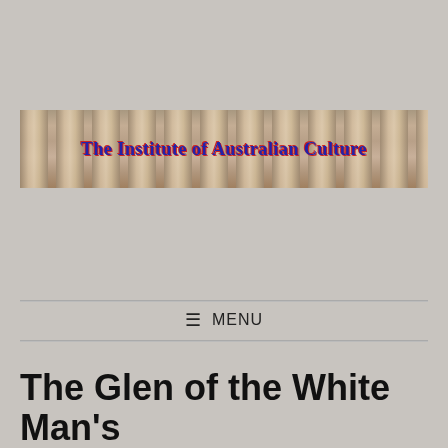[Figure (logo): The Institute of Australian Culture banner logo with classical building columns in the background and text in gothic/old English style in blue with red shadow]
MENU
The Glen of the White Man's